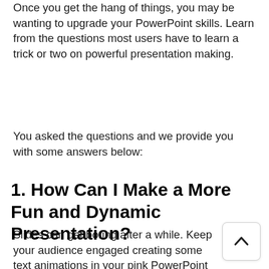Once you get the hang of things, you may be wanting to upgrade your PowerPoint skills. Learn from the questions most users have to learn a trick or two on powerful presentation making.
You asked the questions and we provide you with some answers below:
1. How Can I Make a More Fun and Dynamic Presentation?
Slides can get boring after a while. Keep your audience engaged creating some text animations in your pink PowerPoint templ… Learn more with this quick and easy tutor….